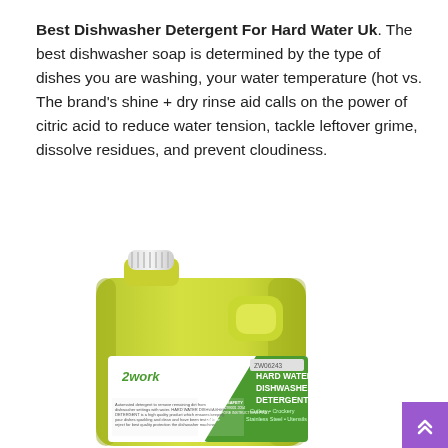Best Dishwasher Detergent For Hard Water Uk. The best dishwasher soap is determined by the type of dishes you are washing, your water temperature (hot vs. The brand's shine + dry rinse aid calls on the power of citric acid to reduce water tension, tackle leftover grime, dissolve residues, and prevent cloudiness.
[Figure (photo): A large yellow-green plastic bottle of 2work Hard Water Dishwasher Detergent (product code ZW06243). The label is white and green with text: 'HARD WATER DISHWASHER DETERGENT - Cutlery • Crockery - Stainless Steel • Utensils'. Small text on the label includes usage and safety information.]